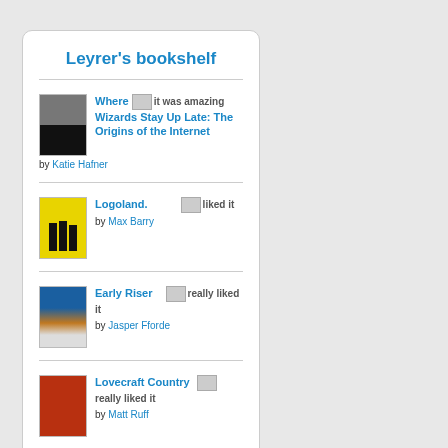Leyrer's bookshelf
Where Wizards Stay Up Late: The Origins of the Internet — it was amazing — by Katie Hafner
Logoland. — liked it — by Max Barry
Early Riser — really liked it — by Jasper Fforde
Lovecraft Country — really liked it — by Matt Ruff
Book (partial) — (rating) — by ...